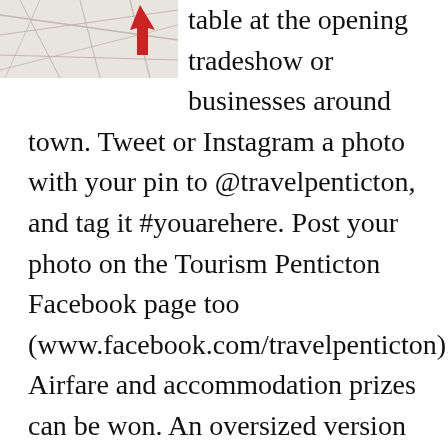[Figure (photo): Partial image of a map with a red pin, cropped at top-left of page]
table at the opening tradeshow or businesses around town. Tweet or Instagram a photo with your pin to @travelpenticton, and tag it #youarehere. Post your photo on the Tourism Penticton Facebook page too (www.facebook.com/travelpenticton). Airfare and accommodation prizes can be won. An oversized version of the hashtag is installed outside of our Wine Country Visitor Centre for a great photo opp.
And don't forget to check-in to the 2013 Wine Bloggers' Conference on Foursquare. When the conference wraps up, one random check-